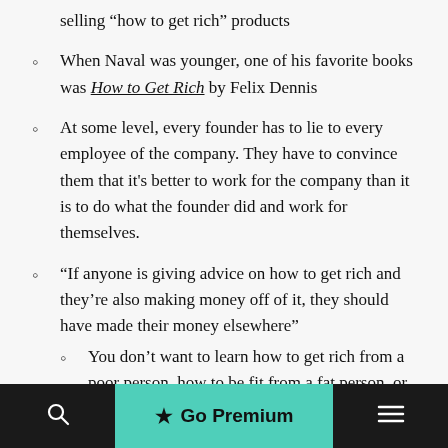selling “how to get rich” products
When Naval was younger, one of his favorite books was How to Get Rich by Felix Dennis
At some level, every founder has to lie to every employee of the company. They have to convince them that it’s better to work for the company than it is to do what the founder did and work for themselves.
“If anyone is giving advice on how to get rich and they’re also making money off of it, they should have made their money elsewhere”
You don’t want to learn how to get rich from a poor person, how to be fit from a fat person, or how to be happy from a depressed person
Go Premium